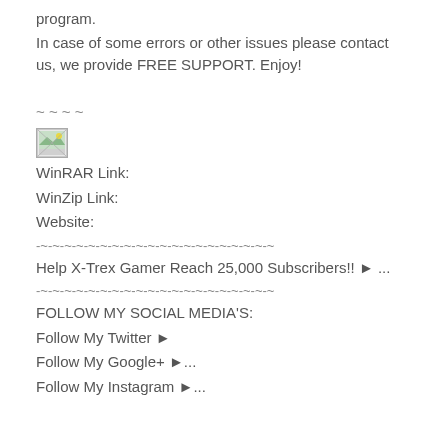program.
In case of some errors or other issues please contact us, we provide FREE SUPPORT. Enjoy!
~ ~ ~ ~
[Figure (photo): Small broken/placeholder image icon]
WinRAR Link:
WinZip Link:
Website:
-~-~-~-~-~-~-~-~-~-~-~-~-~-~-~-~-~-~-~-~
Help X-Trex Gamer Reach 25,000 Subscribers!! ► ...
-~-~-~-~-~-~-~-~-~-~-~-~-~-~-~-~-~-~-~-~
FOLLOW MY SOCIAL MEDIA'S:
Follow My Twitter ►
Follow My Google+ ►...
Follow My Instagram ►...